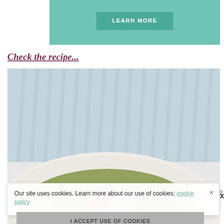[Figure (other): Teal/turquoise banner with a dark teal 'LEARN MORE' button centered on it]
Check the recipe...
[Figure (photo): Overhead photo of a ceramic bowl filled with pasta salad topped with pesto, cherry tomatoes, and fresh herbs, with a blue and white striped cloth in background]
Our site uses cookies. Learn more about our use of cookies: cookie policy
I ACCEPT USE OF COOKIES
[Figure (infographic): Dark advertisement banner for SHE Partner Network reading 'WE HELP CONTENT CREATORS GROW BUSINESSES THROUGH...' with a LEARN MORE button and woman with tablet illustration]